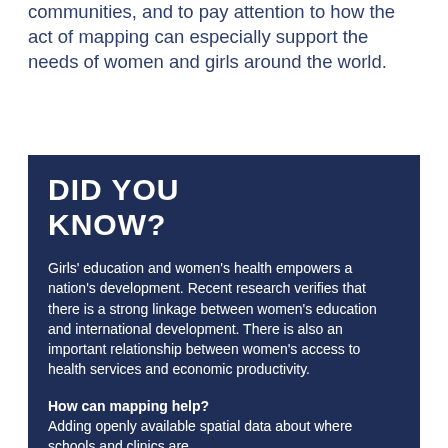communities, and to pay attention to how the act of mapping can especially support the needs of women and girls around the world.
DID YOU KNOW?
Girls' education and women's health empowers a nation's development. Recent research verifies that there is a strong linkage between women's education and international development. There is also an important relationship between women's access to health services and economic productivity.
How can mapping help? Adding openly available spatial data about where schools and clinics are